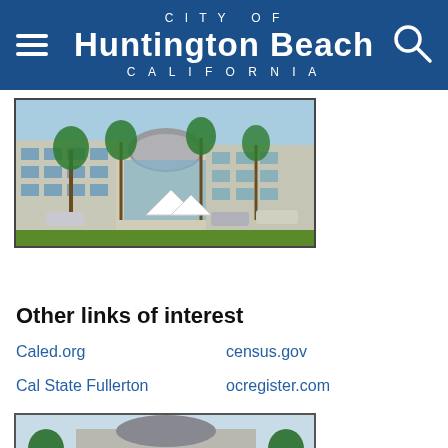CITY OF Huntington Beach CALIFORNIA
[Figure (photo): Exterior photo of a modern commercial/civic building with palm trees, glass facade, and a distinctive domed roof structure. Parked cars and a green lawn in foreground.]
Other links of interest
Caled.org
census.gov
Cal State Fullerton
ocregister.com
[Figure (photo): Partial view of another building exterior, cropped at bottom of page.]